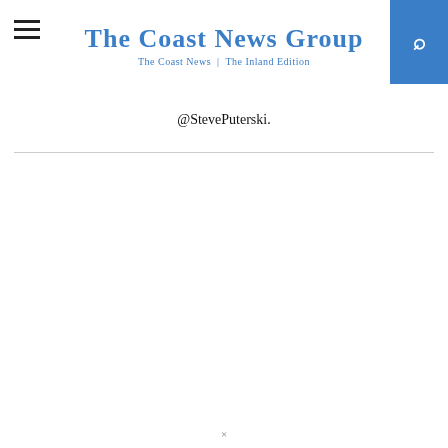The Coast News Group — The Coast News | The Inland Edition
@StevePuterski.
×